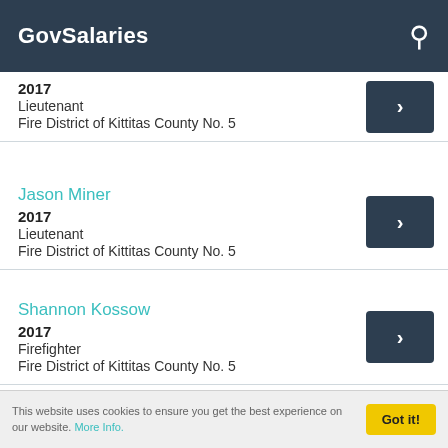GovSalaries
2017
Lieutenant
Fire District of Kittitas County No. 5
Jason Miner
2017
Lieutenant
Fire District of Kittitas County No. 5
Shannon Kossow
2017
Firefighter
Fire District of Kittitas County No. 5
This website uses cookies to ensure you get the best experience on our website. More Info.